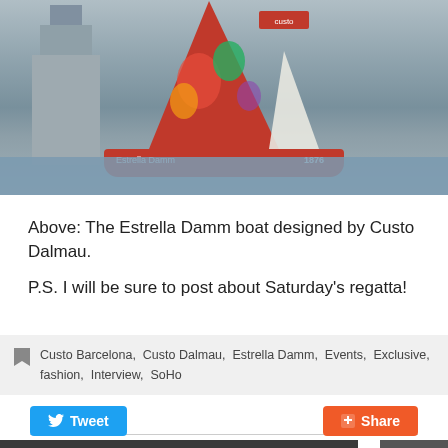[Figure (photo): A red sailboat with colorful Custo Dalmau designed sail in front of a historic stone building (resembling the Statue of Liberty island), on water.]
Above: The Estrella Damm boat designed by Custo Dalmau.
P.S. I will be sure to post about Saturday's regatta!
Custo Barcelona, Custo Dalmau, Estrella Damm, Events, Exclusive, fashion, Interview, SoHo
Tweet  Share
RELATED POSTS